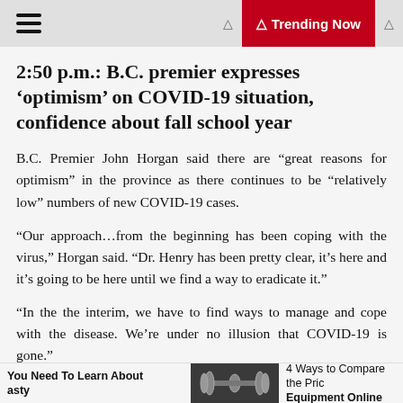Trending Now
2:50 p.m.: B.C. premier expresses ‘optimism’ on COVID-19 situation, confidence about fall school year
B.C. Premier John Horgan said there are “great reasons for optimism” in the province as there continues to be “relatively low” numbers of new COVID-19 cases.
“Our approach…from the beginning has been coping with the virus,” Horgan said. “Dr. Henry has been pretty clear, it’s here and it’s going to be here until we find a way to eradicate it.”
“In the the interim, we have to find ways to manage and cope with the disease. We’re under no illusion that COVID-19 is gone.”
You Need To Learn About asty | 4 Ways to Compare the Price Equipment Online